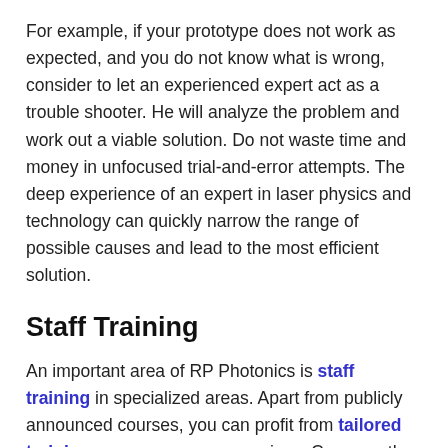For example, if your prototype does not work as expected, and you do not know what is wrong, consider to let an experienced expert act as a trouble shooter. He will analyze the problem and work out a viable solution. Do not waste time and money in unfocused trial-and-error attempts. The deep experience of an expert in laser physics and technology can quickly narrow the range of possible causes and lead to the most efficient solution.
Staff Training
An important area of RP Photonics is staff training in specialized areas. Apart from publicly announced courses, you can profit from tailored training courses on your premises. Compare the required investment with the gain of competence and resulting opportunities. In many cases, you may have to sell